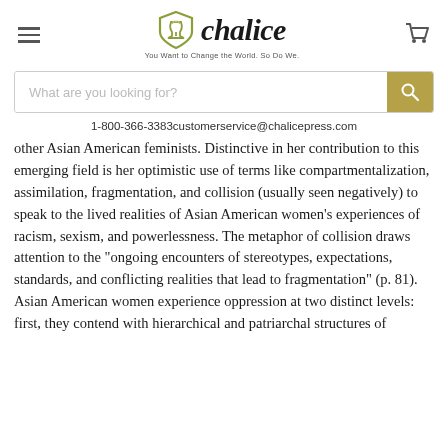[Figure (logo): Chalice Press logo with chalice icon and text 'chalice' and tagline 'You Want to Change the World. So Do We.']
1-800-366-3383customerservice@chalicepress.com
other Asian American feminists. Distinctive in her contribution to this emerging field is her optimistic use of terms like compartmentalization, assimilation, fragmentation, and collision (usually seen negatively) to speak to the lived realities of Asian American women's experiences of racism, sexism, and powerlessness. The metaphor of collision draws attention to the "ongoing encounters of stereotypes, expectations, standards, and conflicting realities that lead to fragmentation" (p. 81). Asian American women experience oppression at two distinct levels: first, they contend with hierarchical and patriarchal structures of